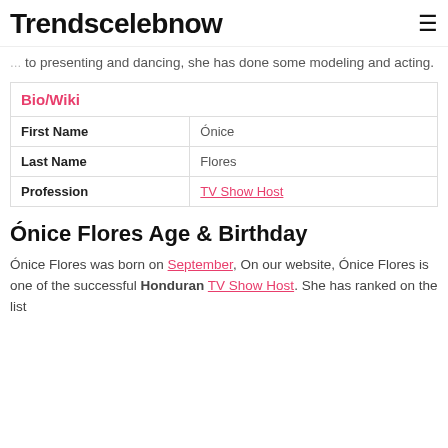Trendscelebnow
... to presenting and dancing, she has done some modeling and acting.
| Bio/Wiki |
| --- |
| First Name | Ónice |
| Last Name | Flores |
| Profession | TV Show Host |
Ónice Flores Age & Birthday
Ónice Flores was born on September, On our website, Ónice Flores is one of the successful Honduran TV Show Host. She has ranked on the list